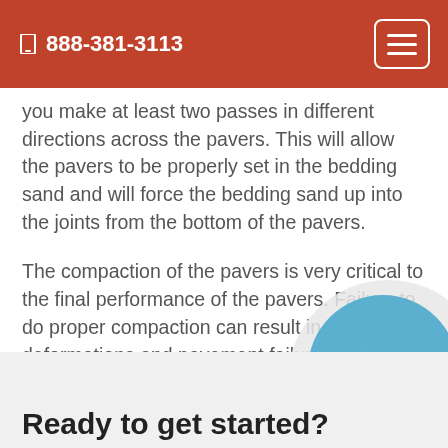888-381-3113
you make at least two passes in different directions across the pavers. This will allow the pavers to be properly set in the bedding sand and will force the bedding sand up into the joints from the bottom of the pavers.
The compaction of the pavers is very critical to the final performance of the pavers. Failure to do proper compaction can result in deformations and pavement failure over time.
[Figure (illustration): A circular phone/call icon with a white telephone handset on a light blue background, overlapping a larger light grey circle.]
Ready to get started?